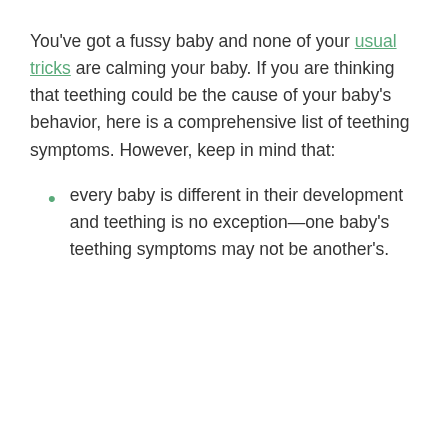You've got a fussy baby and none of your usual tricks are calming your baby. If you are thinking that teething could be the cause of your baby's behavior, here is a comprehensive list of teething symptoms. However, keep in mind that:
every baby is different in their development and teething is no exception—one baby's teething symptoms may not be another's.